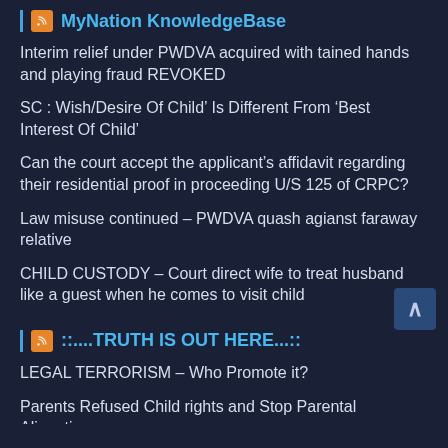MyNation KnowledgeBase
Interim relief under PWDVA acquired with tained hands and playing fraud REVOKED
SC : Wish/Desire Of Child’ Is Different From ‘Best Interest Of Child’
Can the court accept the applicant’s affidavit regarding their residential proof in proceeding U/S 125 of CRPC?
Law misuse continued – PWDVA quash agianst faraway relative
CHILD CUSTODY – Court direct wife to treat husband like a guest when he comes to visit child
::....TRUTH IS OUT HERE...::
LEGAL TERRORISM – Who Promote it?
Parents Refused Child rights and Stop Parental Alienation